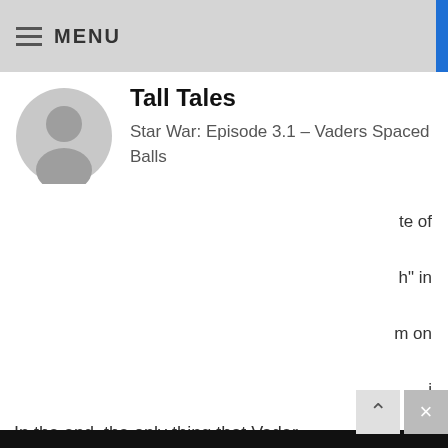≡ MENU
Tall Tales
Star War: Episode 3.1 – Vaders Spaced Balls
We use cookies to ensure that we give you the best experience on our website. If you continue to use this site, we will assume that you accept and understand our Privacy Policy, and our Terms of Use.
Decline
Accept
Share This
In the end, the only thing that Vader